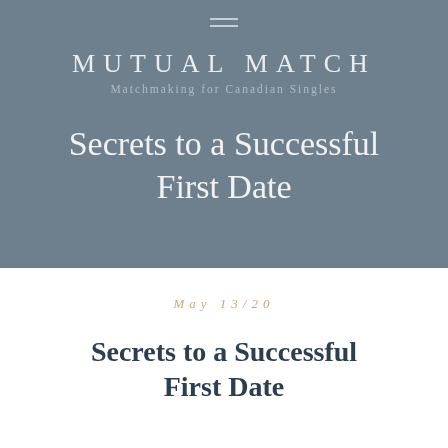[Figure (screenshot): Hero banner with slate-blue/grey gradient background containing hamburger menu icon, brand name MUTUAL MATCH, tagline Matchmaking for Canadian Singles, and article title Secrets to a Successful First Date in white serif font]
May 13/20
Secrets to a Successful First Date